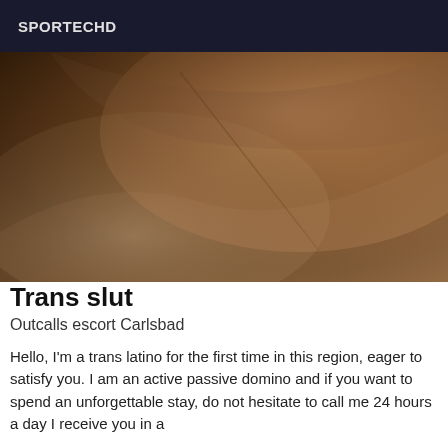SPORTECHD
[Figure (photo): Close-up photograph of dark skin, appears to be a body part, with blurred background suggesting bedding or fabric.]
Trans slut
Outcalls escort Carlsbad
Hello, I'm a trans latino for the first time in this region, eager to satisfy you. I am an active passive domino and if you want to spend an unforgettable stay, do not hesitate to call me 24 hours a day I receive you in a